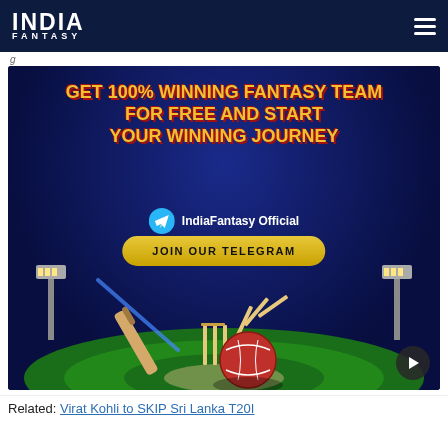INDIA FANTASY
[Figure (illustration): India Fantasy promotional banner: dark blue background with cricket imagery (ball, stumps, bat, stadium floodlights). Text reads: GET 100% WINNING FANTASY TEAM FOR FREE AND START YOUR WINNING JOURNEY. Telegram icon with 'IndiaFantasy Official' label and a yellow JOIN OUR TELEGRAM button.]
Related: Virat Kohli to SKIP Sri Lanka T20I